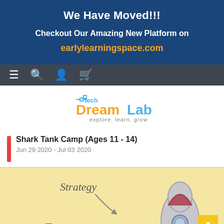We Have Moved!!!
Checkout Our Amazing New Platform on
earlylearningspace.com
[Figure (screenshot): Navigation bar with hamburger menu, search, user, and cart icons on dark grey background]
[Figure (logo): Tech DreamLab logo with circuit-board styled text reading 'tech DreamLab explore. learn. grow']
Shark Tank Camp (Ages 11 - 14)
Jun 29 2020 - Jul 03 2020
[Figure (illustration): Illustration on yellow background showing a rocket with the words 'Strategy' and 'Target' handwritten, suggesting a Shark Tank entrepreneurship theme. A scroll-to-top arrow button appears in the bottom right corner.]